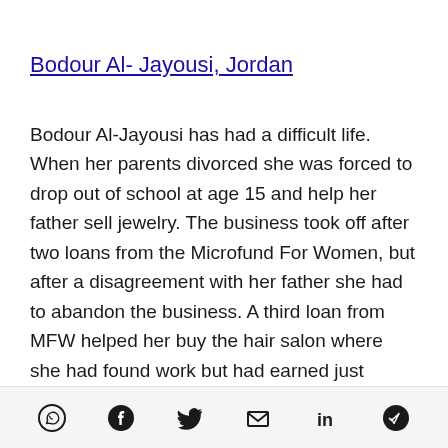Bodour Al- Jayousi, Jordan
Bodour Al-Jayousi has had a difficult life. When her parents divorced she was forced to drop out of school at age 15 and help her father sell jewelry. The business took off after two loans from the Microfund For Women, but after a disagreement with her father she had to abandon the business. A third loan from MFW helped her buy the hair salon where she had found work but had earned just
[Figure (other): Social sharing icons bar: WhatsApp, Facebook, Twitter, Email, LinkedIn, Telegram]